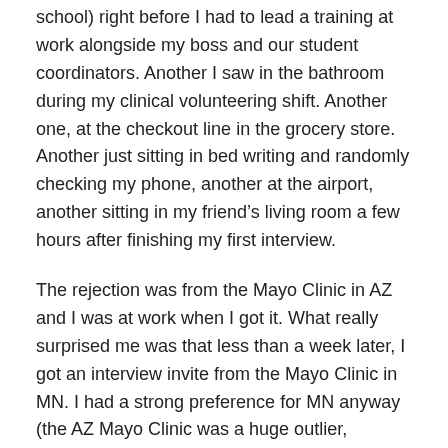school) right before I had to lead a training at work alongside my boss and our student coordinators. Another I saw in the bathroom during my clinical volunteering shift. Another one, at the checkout line in the grocery store. Another just sitting in bed writing and randomly checking my phone, another at the airport, another sitting in my friend's living room a few hours after finishing my first interview.
The rejection was from the Mayo Clinic in AZ and I was at work when I got it. What really surprised me was that less than a week later, I got an interview invite from the Mayo Clinic in MN. I had a strong preference for MN anyway (the AZ Mayo Clinic was a huge outlier, location-wise, in my school list). So I was really happy with the way that worked out! I have my Mayo MN interview mid-December.